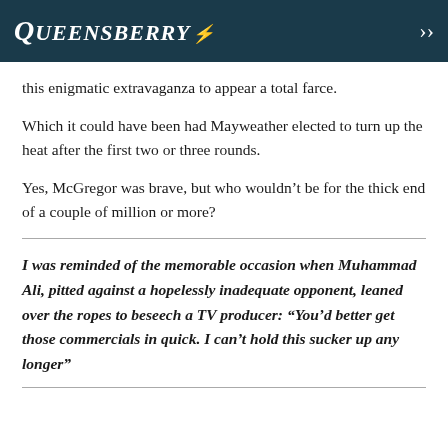Queensberry
this enigmatic extravaganza to appear a total farce.
Which it could have been had Mayweather elected to turn up the heat after the first two or three rounds.
Yes, McGregor was brave, but who wouldn't be for the thick end of a couple of million or more?
I was reminded of the memorable occasion when Muhammad Ali, pitted against a hopelessly inadequate opponent, leaned over the ropes to beseech a TV producer: “You’d better get those commercials in quick. I can’t hold this sucker up any longer”